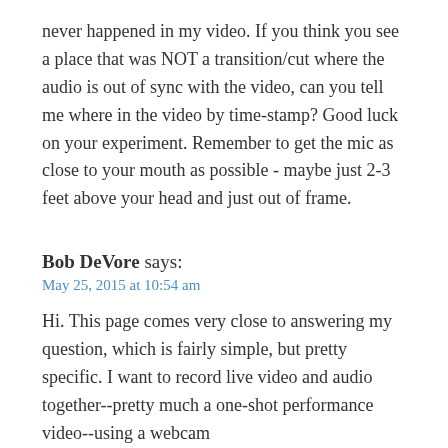never happened in my video. If you think you see a place that was NOT a transition/cut where the audio is out of sync with the video, can you tell me where in the video by time-stamp? Good luck on your experiment. Remember to get the mic as close to your mouth as possible - maybe just 2-3 feet above your head and just out of frame.
Bob DeVore says:
May 25, 2015 at 10:54 am
Hi. This page comes very close to answering my question, which is fairly simple, but pretty specific. I want to record live video and audio together--pretty much a one-shot performance video--using a webcam